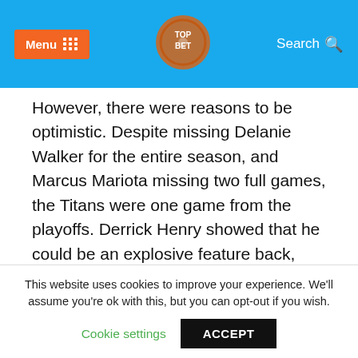Menu | [logo] | Search
However, there were reasons to be optimistic. Despite missing Delanie Walker for the entire season, and Marcus Mariota missing two full games, the Titans were one game from the playoffs. Derrick Henry showed that he could be an explosive feature back, including an incredible 99-yeard TD run. And the Titans had the fewest 4th quarter touchdowns allowed, the fewest penalties, and registered the most wins in the NFL against playoff-bound teams.
This website uses cookies to improve your experience. We'll assume you're ok with this, but you can opt-out if you wish.
Cookie settings | ACCEPT